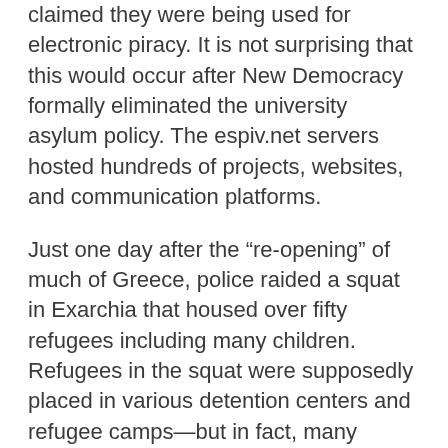claimed they were being used for electronic piracy. It is not surprising that this would occur after New Democracy formally eliminated the university asylum policy. The espiv.net servers hosted hundreds of projects, websites, and communication platforms.
Just one day after the “re-opening” of much of Greece, police raided a squat in Exarchia that housed over fifty refugees including many children. Refugees in the squat were supposedly placed in various detention centers and refugee camps—but in fact, many simply ended up homeless. New Democracy is intent on maintaining its xenophobic platform of repression and torture against non-Greeks and refugees. Immediately afterwards, a demonstration against the eviction drew many people into the streets of Exarchia. Many squats